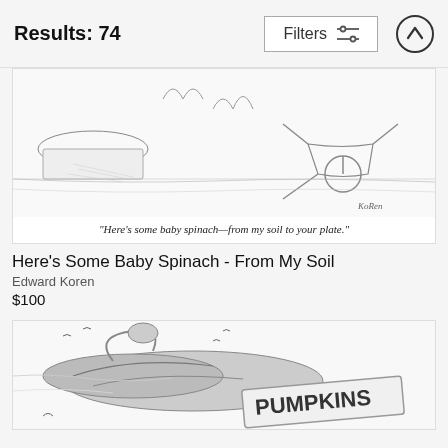Results: 74
[Figure (illustration): Pen-and-ink cartoon illustration of a garden scene with a wheelbarrow, plants, and figures. Caption reads: "Here's some baby spinach—from my soil to your plate."]
"Here's some baby spinach—from my soil to your plate."
Here's Some Baby Spinach - From My Soil
Edward Koren
$100
[Figure (illustration): Pen-and-ink cartoon illustration showing a large bird (possibly a goose or pelican) with a sign reading 'PUMPKINS' against a windswept background with small birds in the sky.]